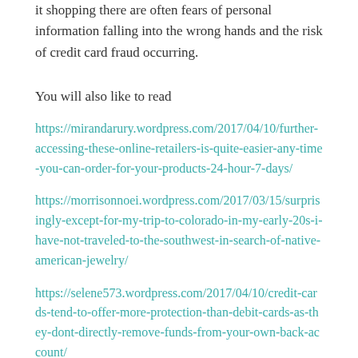it shopping there are often fears of personal information falling into the wrong hands and the risk of credit card fraud occurring.
You will also like to read
https://mirandarury.wordpress.com/2017/04/10/further-accessing-these-online-retailers-is-quite-easier-any-time-you-can-order-for-your-products-24-hour-7-days/
https://morrisonnoei.wordpress.com/2017/03/15/surprisingly-except-for-my-trip-to-colorado-in-my-early-20s-i-have-not-traveled-to-the-southwest-in-search-of-native-american-jewelry/
https://selene573.wordpress.com/2017/04/10/credit-cards-tend-to-offer-more-protection-than-debit-cards-as-they-dont-directly-remove-funds-from-your-own-back-account/
https://powersdbqg.wordpress.com/2017/04/10/the-tao-of-badass-dating-advice-for-men-ideas-and-tips-for-dating-women-when-did-online-shopping-begin/